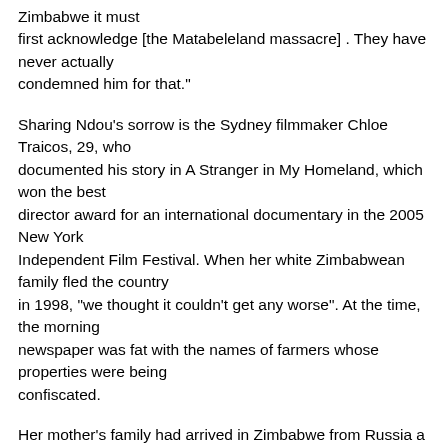Zimbabwe it must first acknowledge [the Matabeleland massacre] . They have never actually condemned him for that."
Sharing Ndou's sorrow is the Sydney filmmaker Chloe Traicos, 29, who documented his story in A Stranger in My Homeland, which won the best director award for an international documentary in the 2005 New York Independent Film Festival. When her white Zimbabwean family fled the country in 1998, "we thought it couldn't get any worse". At the time, the morning newspaper was fat with the names of farmers whose properties were being confiscated.
Her mother's family had arrived in Zimbabwe from Russia a century earlier bringing the first tobacco plants. Her father, John, a lawyer, had played cricket for Zimbabwe, and leaving their home was a wrench.